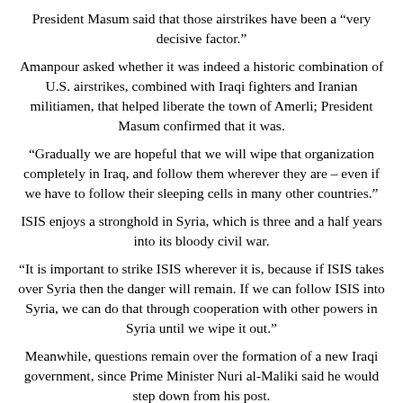President Masum said that those airstrikes have been a “very decisive factor.”
Amanpour asked whether it was indeed a historic combination of U.S. airstrikes, combined with Iraqi fighters and Iranian militiamen, that helped liberate the town of Amerli; President Masum confirmed that it was.
“Gradually we are hopeful that we will wipe that organization completely in Iraq, and follow them wherever they are – even if we have to follow their sleeping cells in many other countries.”
ISIS enjoys a stronghold in Syria, which is three and a half years into its bloody civil war.
“It is important to strike ISIS wherever it is, because if ISIS takes over Syria then the danger will remain. If we can follow ISIS into Syria, we can do that through cooperation with other powers in Syria until we wipe it out.”
Meanwhile, questions remain over the formation of a new Iraqi government, since Prime Minister Nuri al-Maliki said he would step down from his post.
The country’s Prime Minister-designate, Haider al-Abadi, has been tasked with forming a new government.